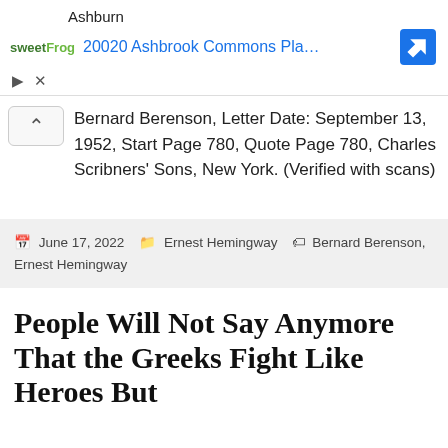[Figure (screenshot): Ad banner showing sweetFrog location in Ashburn at 20020 Ashbrook Commons Pla... with navigation arrow icon]
Bernard Berenson, Letter Date: September 13, 1952, Start Page 780, Quote Page 780, Charles Scribners’ Sons, New York. (Verified with scans)
June 17, 2022  Ernest Hemingway  Bernard Berenson, Ernest Hemingway
People Will Not Say Anymore That the Greeks Fight Like Heroes But